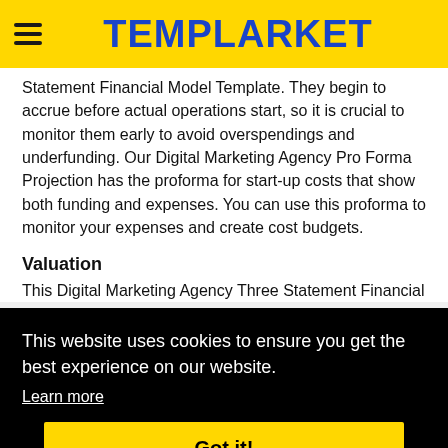TEMPLARKET
Statement Financial Model Template. They begin to accrue before actual operations start, so it is crucial to monitor them early to avoid overspendings and underfunding. Our Digital Marketing Agency Pro Forma Projection has the proforma for start-up costs that show both funding and expenses. You can use this proforma to monitor your expenses and create cost budgets.
Valuation
This Digital Marketing Agency Three Statement Financial
This website uses cookies to ensure you get the best experience on our website.
Learn more
Got it!